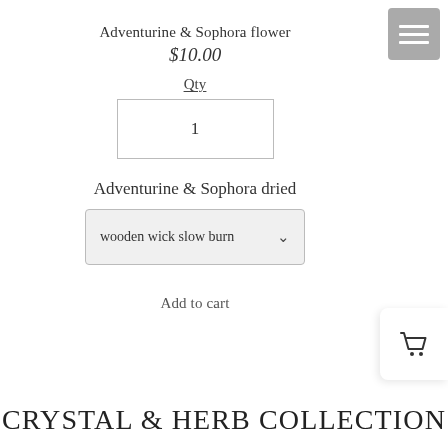Adventurine & Sophora flower
$10.00
Qty
1
Adventurine & Sophora dried
wooden wick slow burn
Add to cart
CRYSTAL & HERB COLLECTION